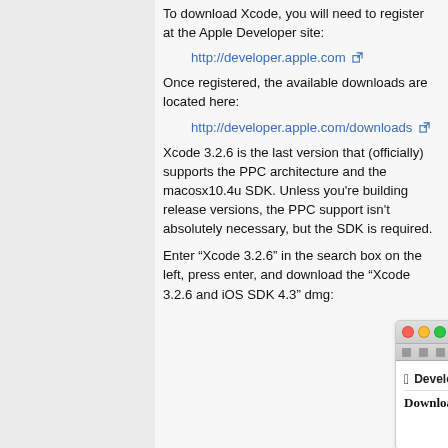To download Xcode, you will need to register at the Apple Developer site:
http://developer.apple.com
Once registered, the available downloads are located here:
http://developer.apple.com/downloads
Xcode 3.2.6 is the last version that (officially) supports the PPC architecture and the macosx10.4u SDK. Unless you're building release versions, the PPC support isn't absolutely necessary, but the SDK is required.
Enter “Xcode 3.2.6” in the search box on the left, press enter, and download the “Xcode 3.2.6 and iOS SDK 4.3” dmg:
[Figure (screenshot): Screenshot of the Apple Developer website showing the Downloads for Apple Developer page in a Mac OS X Safari browser window with traffic light buttons, navigation controls, and URL bar showing https://developer.apple.com/do...]